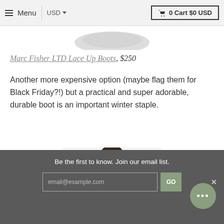≡ Menu  USD ▾    🛒 0 Cart $0 USD
[Figure (photo): Partial top view of boots product image, cropped]
Marc Fisher LTD Lace Up Boots, $250
Another more expensive option (maybe flag them for Black Friday?!) but a practical and super adorable, durable boot is an important winter staple.
[Figure (photo): Woman wearing a grey and white plaid flannel shirt, partial torso and head shot]
Be the first to know. Join our email list.  [email@example.com] [GO]